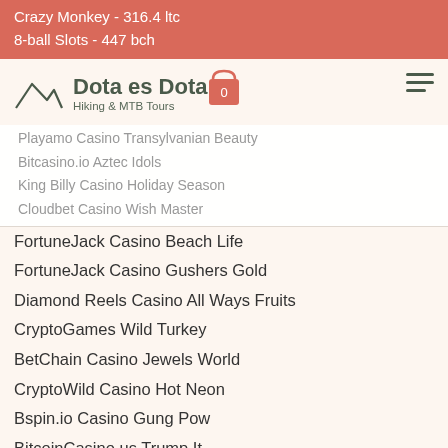Crazy Monkey - 316.4 ltc
8-ball Slots - 447 bch
Dota es Dota
Hiking & MTB Tours
Playamo Casino Transylvanian Beauty
Bitcasino.io Aztec Idols
King Billy Casino Holiday Season
Cloudbet Casino Wish Master
FortuneJack Casino Beach Life
FortuneJack Casino Gushers Gold
Diamond Reels Casino All Ways Fruits
CryptoGames Wild Turkey
BetChain Casino Jewels World
CryptoWild Casino Hot Neon
Bspin.io Casino Gung Pow
BitcoinCasino.us Trump It
Playamo Casino Rise of Spartans
Betchan Casino La Dolce Vita
Bitcoin Penguin Casino Jacques Pot
https://www.englishcountryliving.com/profile/